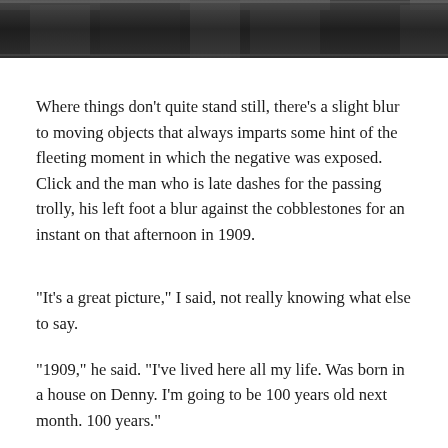[Figure (photo): Black and white photograph strip showing an urban street scene, partially visible at the top of the page.]
Where things don't quite stand still, there's a slight blur to moving objects that always imparts some hint of the fleeting moment in which the negative was exposed. Click and the man who is late dashes for the passing trolly, his left foot a blur against the cobblestones for an instant on that afternoon in 1909.
“It’s a great picture,” I said, not really knowing what else to say.
“1909,” he said. “I’ve lived here all my life. Was born in a house on Denny. I’m going to be 100 years old next month. 100 years.”